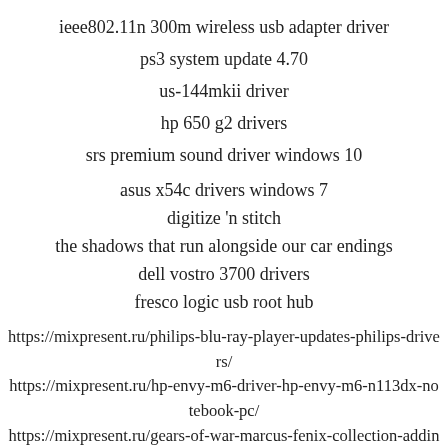ieee802.11n 300m wireless usb adapter driver
ps3 system update 4.70
us-144mkii driver
hp 650 g2 drivers
srs premium sound driver windows 10
asus x54c drivers windows 7
digitize 'n stitch
the shadows that run alongside our car endings
dell vostro 3700 drivers
fresco logic usb root hub
https://mixpresent.ru/philips-blu-ray-player-updates-philips-drivers/
https://mixpresent.ru/hp-envy-m6-driver-hp-envy-m6-n113dx-notebook-pc/
https://mixpresent.ru/gears-of-war-marcus-fenix-collection-adding-to/
https://mixpresent.ru/ace-fishing-treasure-chest-tips-ace-fishing-guide/
https://mixpresent.ru/nextbit-robin-usb-drivers-robin-